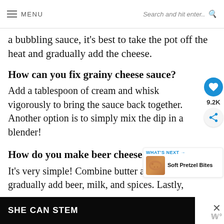MENU  Search and hit enter..
a bubbling sauce, it's best to take the pot off the heat and gradually add the cheese.
How can you fix grainy cheese sauce?
Add a tablespoon of cream and whisk vigorously to bring the sauce back together. Another option is to simply mix the dip in a blender!
How do you make beer cheese dip?
It's very simple! Combine butter and gradually add beer, milk, and spices. Lastly,
[Figure (other): WHAT'S NEXT arrow label with Soft Pretzel Bites thumbnail image]
[Figure (other): Advertisement bar with SHE CAN STEM text and close button]
9.2K